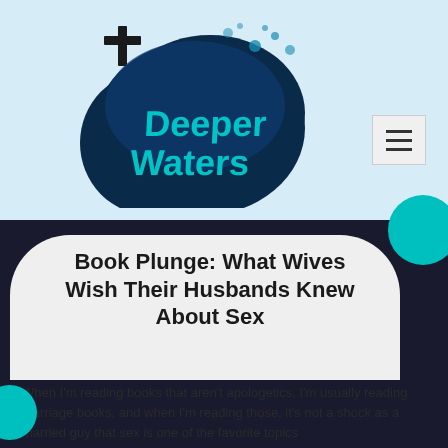[Figure (logo): Deeper Waters logo: a cross above a dark blue water droplet/blob shape with teal text reading 'Deeper Waters', with water splash effects and bubbles, on a light blue background.]
Book Plunge: What Wives Wish Their Husbands Knew About Sex
When I'm reading books that aren't apologetics, I'm usually reading marriage books, and when I'm reading those, it's not a shock as a married guy that sex is one of the favorite topics